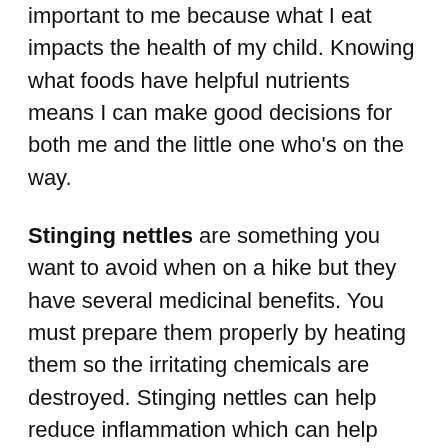important to me because what I eat impacts the health of my child. Knowing what foods have helpful nutrients means I can make good decisions for both me and the little one who's on the way.
Stinging nettles are something you want to avoid when on a hike but they have several medicinal benefits. You must prepare them properly by heating them so the irritating chemicals are destroyed. Stinging nettles can help reduce inflammation which can help those who have arthritis or other ailments caused by inflammation. Another interesting fact is that stinging nettles are one of the most nutrient-dense wild foods - they even have more protein and calcium than kale!